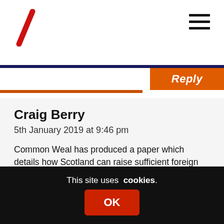Craig Berry comment — 5th January 2019 at 9:46 pm
Craig Berry
5th January 2019 at 9:46 pm
Common Weal has produced a paper which details how Scotland can raise sufficient foreign exchange reserves to ensure a stable launch of its own independent currency and to maintain a stable exchange rate with the currencies of its principle trading partners. Please see below;
This site uses cookies. OK